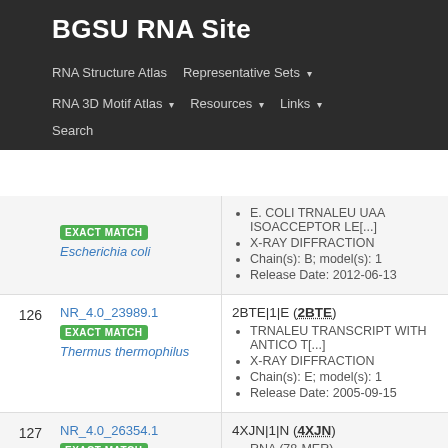BGSU RNA Site
RNA Structure Atlas
Representative Sets ▾
RNA 3D Motif Atlas ▾
Resources ▾
Links ▾
Search
| # | ID / Organism | Structure Info |
| --- | --- | --- |
|  | NR_4.0_... / EXACT MATCH / Escherichia coli | E. COLI TRNALEU UAA ISOACCEPTOR LE[...] • X-RAY DIFFRACTION • Chain(s): B; model(s): 1 • Release Date: 2012-06-13 |
| 126 | NR_4.0_23989.1 / EXACT MATCH / Thermus thermophilus | 2BTE|1|E (2BTE) • TRNALEU TRANSCRIPT WITH ANTICO T[...] • X-RAY DIFFRACTION • Chain(s): E; model(s): 1 • Release Date: 2005-09-15 |
| 127 | NR_4.0_26354.1 / EXACT MATCH | 4XJN|1|N (4XJN) • RNA (78-MER) |